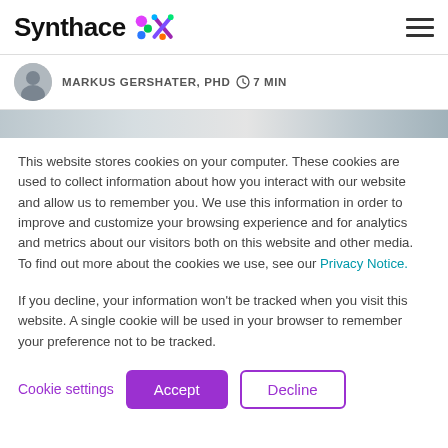Synthace — navigation header with logo and hamburger menu
MARKUS GERSHATER, PHD  🕐 7 MIN
[Figure (photo): Partial banner image of a lab or technology scene, gray-blue tones]
This website stores cookies on your computer. These cookies are used to collect information about how you interact with our website and allow us to remember you. We use this information in order to improve and customize your browsing experience and for analytics and metrics about our visitors both on this website and other media. To find out more about the cookies we use, see our Privacy Notice.
If you decline, your information won't be tracked when you visit this website. A single cookie will be used in your browser to remember your preference not to be tracked.
Cookie settings   Accept   Decline